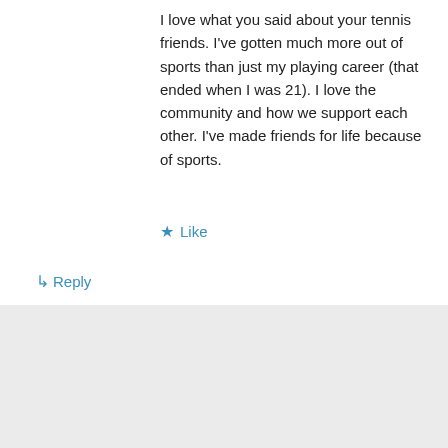I love what you said about your tennis friends. I've gotten much more out of sports than just my playing career (that ended when I was 21). I love the community and how we support each other. I've made friends for life because of sports.
★ Like
↳ Reply
Darlene on February 17, 2016 at 9:42 am
Yes. I am so glad that I played a team sport for that reason. I love running but it is so different.
★ Like
↳ Reply